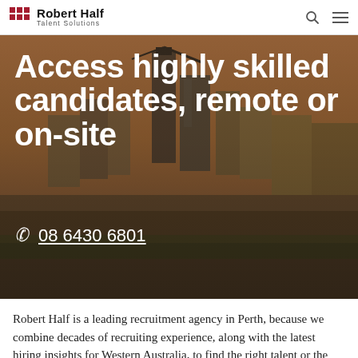Robert Half Talent Solutions
[Figure (photo): Aerial/street-level view of Perth city skyline with tall buildings and urban landscape, used as hero background image]
Access highly skilled candidates, remote or on-site
08 6430 6801
Robert Half is a leading recruitment agency in Perth, because we combine decades of recruiting experience, along with the latest hiring insights for Western Australia, to find the right talent or the